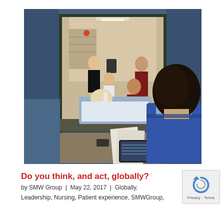[Figure (photo): Medical simulation or training scene: a patient lying in a hospital bed is visible through a window/mirror, with several healthcare workers (nurses/doctors) attending to the patient. In the foreground, a person with dark hair sits at a desk with papers and a tablet device.]
Do you think, and act, globally?
by SMW Group | May 22, 2017 | Globally,
Leadership, Nursing, Patient experience, SMWGroup,